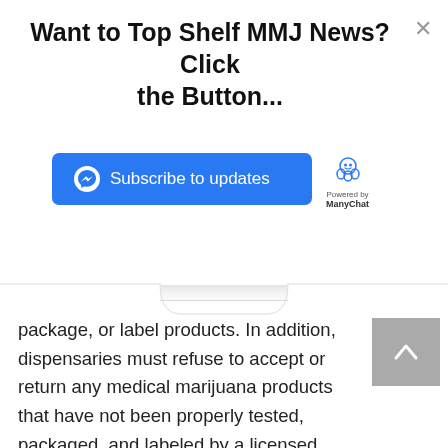Want to Top Shelf MMJ News? Click the Button...
[Figure (screenshot): Blue Subscribe to updates button with Messenger icon, and ManyChat powered by logo to the right]
package, or label products. In addition, dispensaries must refuse to accept or return any medical marijuana products that have not been properly tested, packaged, and labeled by a licensed processor. [See OAC 310:681-1-4 and OAC 310:681-7-1(b)]
Additionally, slushies are considered food products and must be compliant with the Oklahoma State Department of Health food regulations. For more information, please visit the OSDH